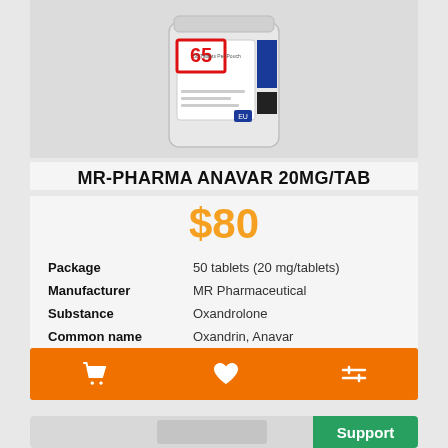[Figure (photo): Product image of MR-Pharma Anavar 20mg/Tab pill bottle with sale sticker and blue/black label accents]
MR-PHARMA ANAVAR 20MG/TAB
$80
| Package | 50 tablets (20 mg/tablets) |
| Manufacturer | MR Pharmaceutical |
| Substance | Oxandrolone |
| Common name | Oxandrin, Anavar |
[Figure (screenshot): Orange action bar with shopping cart icon, heart/favorite icon, and compare icon]
[Figure (photo): Bottom partial preview of a second product card with a green Support button]